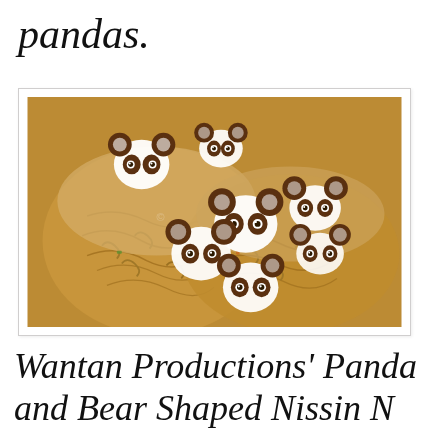pandas.
[Figure (photo): A close-up photo of ramen noodles topped with multiple panda-face shaped fish cake pieces (narutomaki) arranged on a pile of noodles with vegetable toppings. The panda faces have white rounds with brown eye and ear markings.]
Wantan Productions' Panda and Bear Shaped Nissin Noodles